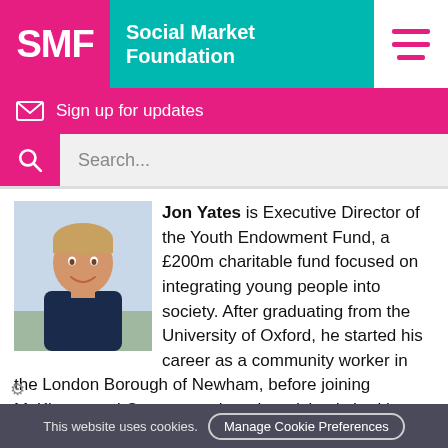SMF Social Market Foundation
Sign up for updates
Search...
Jon Yates is Executive Director of the Youth Endowment Fund, a £200m charitable fund focused on integrating young people into society. After graduating from the University of Oxford, he started his career as a community worker in the London Borough of Newham, before joining McKinsey and Company, where he advised charities,
This website uses cookies. Manage Cookie Preferences